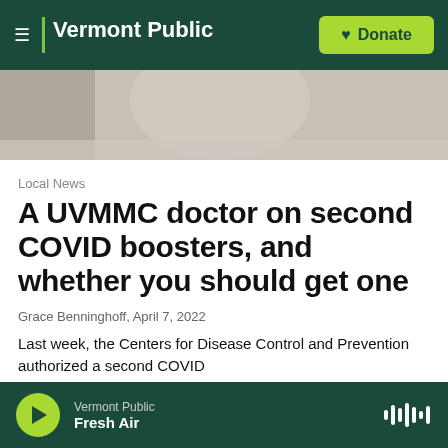Vermont Public | Donate
[Figure (photo): Partial photo of a person, blurred background, appears to be a medical/healthcare setting]
Local News
A UVMMC doctor on second COVID boosters, and whether you should get one
Grace Benninghoff,  April 7, 2022
Last week, the Centers for Disease Control and Prevention authorized a second COVID booster...
Vermont Public | Fresh Air